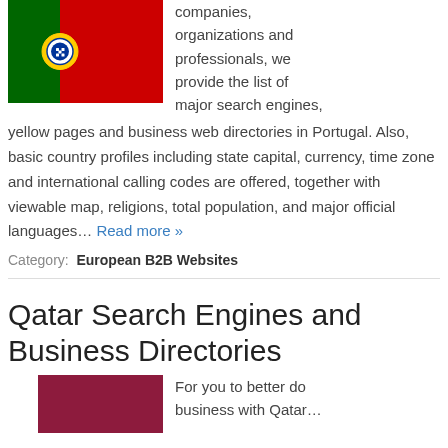[Figure (photo): Portugal national flag — green and red with coat of arms]
companies, organizations and professionals, we provide the list of major search engines, yellow pages and business web directories in Portugal. Also, basic country profiles including state capital, currency, time zone and international calling codes are offered, together with viewable map, religions, total population, and major official languages… Read more »
Category: European B2B Websites
Qatar Search Engines and Business Directories
[Figure (photo): Qatar national flag — dark maroon with white serrated band]
For you to better do business with Qatar…